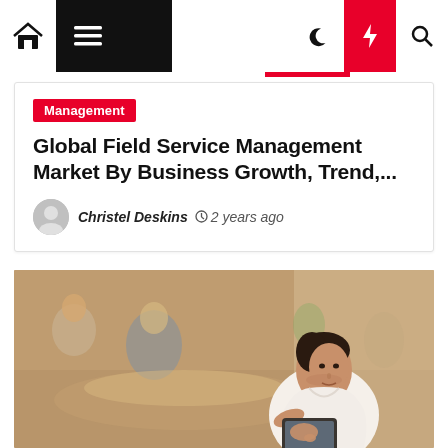Navigation bar with home, menu, dark mode, flash, and search icons
Management
Global Field Service Management Market By Business Growth, Trend,...
Christel Deskins  2 years ago
[Figure (photo): A businesswoman in a white sleeveless top looking down at a tablet device, with blurred office workers in the background]